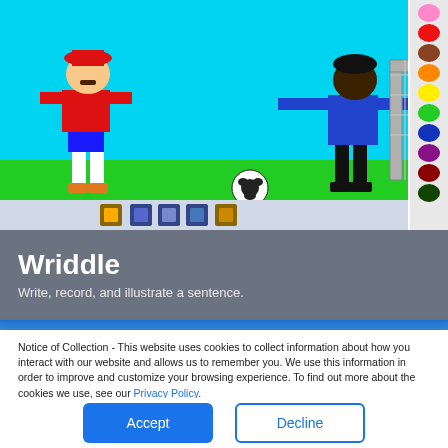[Figure (screenshot): Drawing application screenshot showing two cartoon figures playing soccer on a green field with cyan sky, a soccer ball, and a gray goal structure. A color palette strip is on the right side with colored circles including pink, red, brown, orange, yellow, green, dark blue, purple, dark red, and dark green.]
Wriddle
Write, record, and illustrate a sentence.
[Figure (screenshot): Partial screenshot of another web application showing a blue sky with clouds background.]
Notice of Collection - This website uses cookies to collect information about how you interact with our website and allows us to remember you. We use this information in order to improve and customize your browsing experience. To find out more about the cookies we use, see our Privacy Policy.
If you decline, your information won't be tracked when you visit this website.